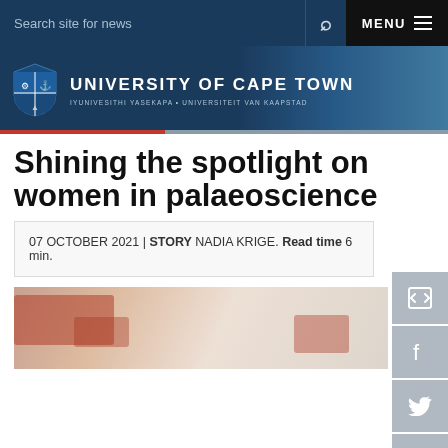Search site for news   Q   MENU
[Figure (logo): University of Cape Town logo with shield crest. UNIVERSITY OF CAPE TOWN. IYUNIVESITHI YASEKAPA • UNIVERSITEIT VAN KAAPSTAD]
Shining the spotlight on women in palaeoscience
07 OCTOBER 2021 | STORY NADIA KRIGE. Read time 6 min.
[Figure (photo): Close-up photograph of rock art or cave painting showing red/ochre pigment marks on a light stone surface.]